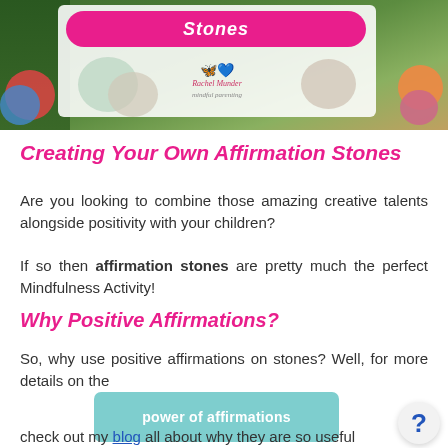[Figure (photo): Top image showing affirmation stones with a pink banner reading 'Stones' and a logo with butterflies for Rachel Munder]
Creating Your Own Affirmation Stones
Are you looking to combine those amazing creative talents alongside positivity with your children?
If so then affirmation stones are pretty much the perfect Mindfulness Activity!
Why Positive Affirmations?
So, why use positive affirmations on stones? Well, for more details on the
[Figure (other): Teal button labeled 'power of affirmations']
check out my blog all about why they are so useful